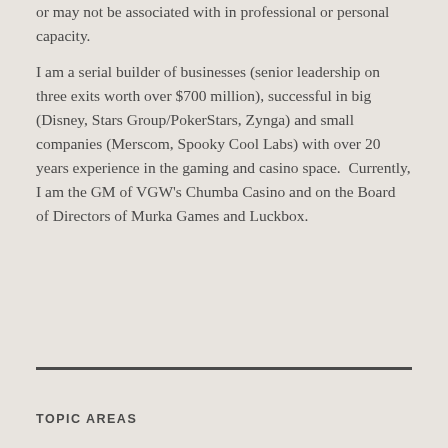or may not be associated with in professional or personal capacity.
I am a serial builder of businesses (senior leadership on three exits worth over $700 million), successful in big (Disney, Stars Group/PokerStars, Zynga) and small companies (Merscom, Spooky Cool Labs) with over 20 years experience in the gaming and casino space.  Currently, I am the GM of VGW's Chumba Casino and on the Board of Directors of Murka Games and Luckbox.
TOPIC AREAS